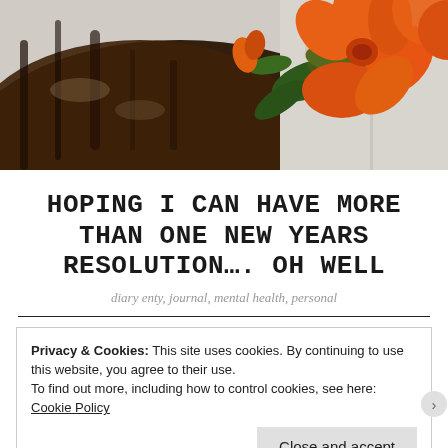[Figure (photo): Photo of orange/red flowers with green leaves resting on dark tree bark, with a light grey background visible at top right]
HOPING I CAN HAVE MORE THAN ONE NEW YEARS RESOLUTION…. OH WELL
diary enty, journal, mental health, personal
Privacy & Cookies: This site uses cookies. By continuing to use this website, you agree to their use. To find out more, including how to control cookies, see here: Cookie Policy
Close and accept